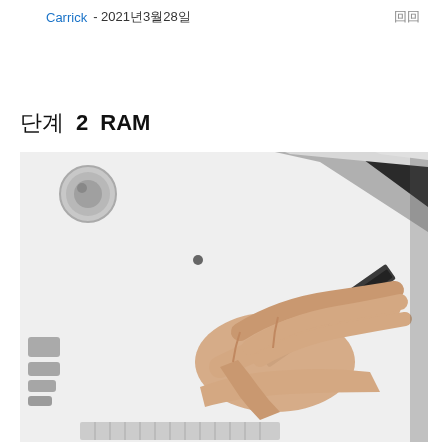Carrick - 2021년3월28일
단계 2   RAM
[Figure (photo): A hand inserting or removing a RAM module from the bottom/side of an iMac computer. The iMac is shown from below, with the white aluminum back visible, ports on the left side, and the black RAM slot door being accessed by a person's right hand.]